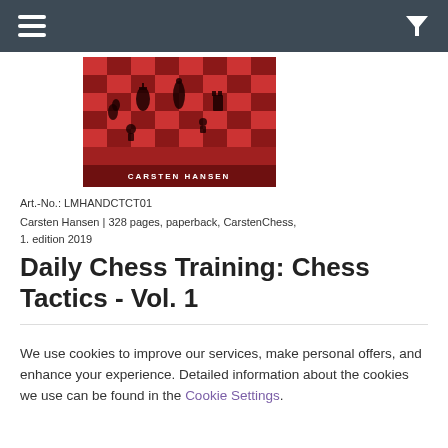Navigation header with hamburger menu and filter icon
[Figure (photo): Book cover for 'Daily Chess Training: Chess Tactics Vol. 1' by Carsten Hansen, showing a red-toned chess board with pieces and author name at the bottom]
Art.-No.: LMHANDCTCT01
Carsten Hansen | 328 pages, paperback, CarstenChess, 1. edition 2019
Daily Chess Training: Chess Tactics - Vol. 1
We use cookies to improve our services, make personal offers, and enhance your experience. Detailed information about the cookies we use can be found in the Cookie Settings.